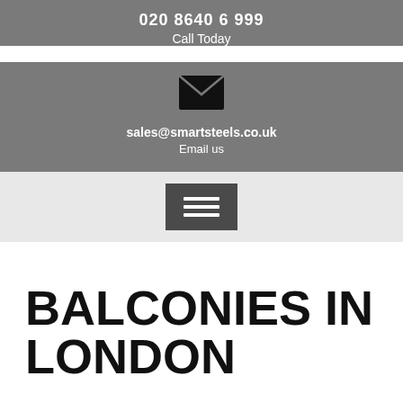020 8640 6 999
Call Today
[Figure (illustration): Envelope/email icon in white on grey background]
sales@smartsteels.co.uk
Email us
[Figure (illustration): Hamburger menu button (three horizontal lines) on dark grey background, inside a light grey bar]
BALCONIES IN LONDON